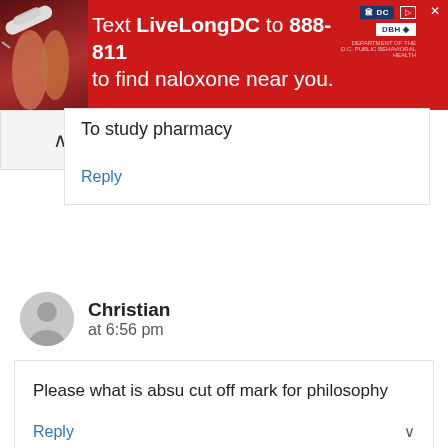[Figure (infographic): Red advertisement banner: 'Text LiveLongDC to 888-811 to find naloxone near you.' with DC and DBH logos and a photo of a syringe/naloxone package on the left.]
To study pharmacy
Reply
Christian
at 6:56 pm
Please what is absu cut off mark for philosophy
Reply